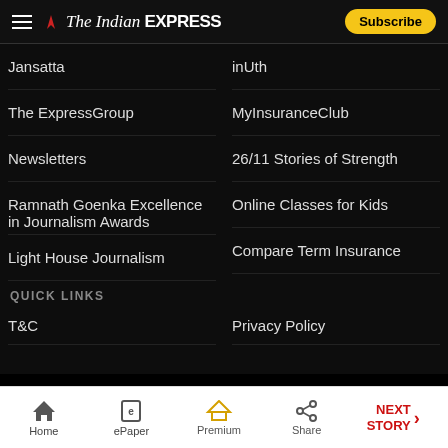The Indian EXPRESS — Subscribe
Jansatta
inUth
The ExpressGroup
MyInsuranceClub
Newsletters
26/11 Stories of Strength
Ramnath Goenka Excellence in Journalism Awards
Online Classes for Kids
Light House Journalism
Compare Term Insurance
QUICK LINKS
T&C
Privacy Policy
Home  ePaper  Premium  Share  NEXT STORY